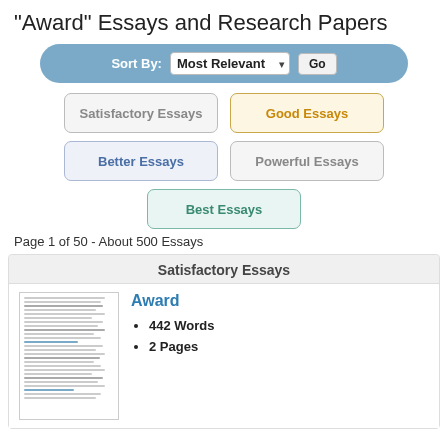"Award" Essays and Research Papers
[Figure (screenshot): Sort By dropdown bar with 'Most Relevant' selected and a 'Go' button, on a rounded blue background]
[Figure (infographic): Five essay quality category buttons: Satisfactory Essays, Good Essays, Better Essays, Powerful Essays, Best Essays]
Page 1 of 50 - About 500 Essays
Satisfactory Essays
[Figure (screenshot): Thumbnail image of a document page with lines of text]
Award
442 Words
2 Pages